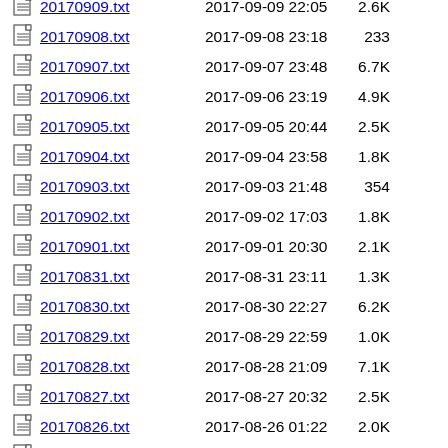20170909.txt  2017-09-09 22:05  2.6K
20170908.txt  2017-09-08 23:18  233
20170907.txt  2017-09-07 23:48  6.7K
20170906.txt  2017-09-06 23:19  4.9K
20170905.txt  2017-09-05 20:44  2.5K
20170904.txt  2017-09-04 23:58  1.8K
20170903.txt  2017-09-03 21:48  354
20170902.txt  2017-09-02 17:03  1.8K
20170901.txt  2017-09-01 20:30  2.1K
20170831.txt  2017-08-31 23:11  1.3K
20170830.txt  2017-08-30 22:27  6.2K
20170829.txt  2017-08-29 22:59  1.0K
20170828.txt  2017-08-28 21:09  7.1K
20170827.txt  2017-08-27 20:32  2.5K
20170826.txt  2017-08-26 01:22  2.0K
20170825.txt  2017-08-25 23:09  11K
20170824.txt  2017-08-24 19:15  1.2K
20170823.txt  2017-08-23 18:20  35K